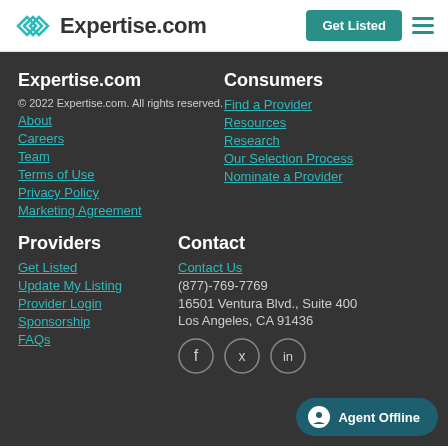Expertise.com | Get Listed
Expertise.com
© 2022 Expertise.com. All rights reserved.
About
Careers
Team
Terms of Use
Privacy Policy
Marketing Agreement
Consumers
Find a Provider
Resources
Research
Our Selection Process
Nominate a Provider
Providers
Get Listed
Update My Listing
Provider Login
Sponsorship
FAQs
Contact
Contact Us
(877)-769-7769
16501 Ventura Blvd., Suite 400
Los Angeles, CA 91436
Agent Offline